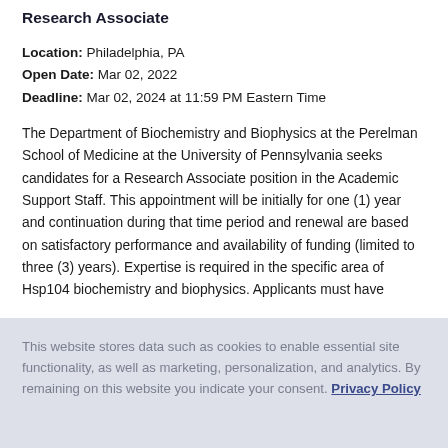Research Associate
Location: Philadelphia, PA
Open Date: Mar 02, 2022
Deadline: Mar 02, 2024 at 11:59 PM Eastern Time
The Department of Biochemistry and Biophysics at the Perelman School of Medicine at the University of Pennsylvania seeks candidates for a Research Associate position in the Academic Support Staff. This appointment will be initially for one (1) year and continuation during that time period and renewal are based on satisfactory performance and availability of funding (limited to three (3) years). Expertise is required in the specific area of Hsp104 biochemistry and biophysics. Applicants must have
This website stores data such as cookies to enable essential site functionality, as well as marketing, personalization, and analytics. By remaining on this website you indicate your consent. Privacy Policy